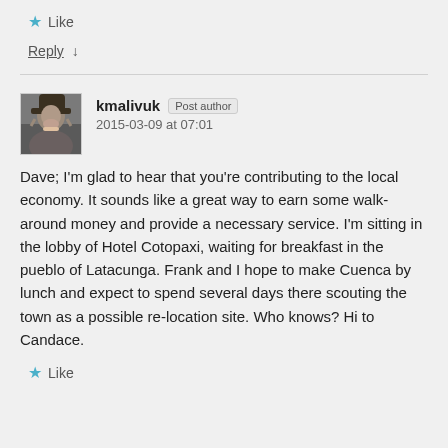★ Like
Reply ↓
kmalivuk Post author
2015-03-09 at 07:01
Dave; I'm glad to hear that you're contributing to the local economy. It sounds like a great way to earn some walk-around money and provide a necessary service. I'm sitting in the lobby of Hotel Cotopaxi, waiting for breakfast in the pueblo of Latacunga. Frank and I hope to make Cuenca by lunch and expect to spend several days there scouting the town as a possible re-location site. Who knows? Hi to Candace.
★ Like